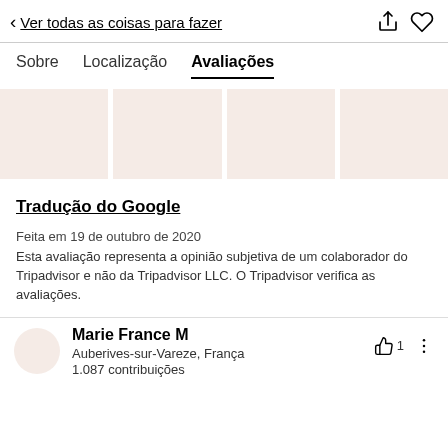< Ver todas as coisas para fazer
Sobre   Localização   Avaliações
[Figure (photo): Four light pinkish-beige placeholder image blocks in a horizontal strip]
Tradução do Google
Feita em 19 de outubro de 2020
Esta avaliação representa a opinião subjetiva de um colaborador do Tripadvisor e não da Tripadvisor LLC. O Tripadvisor verifica as avaliações.
Marie France M
Auberives-sur-Vareze, França
1.087 contribuições